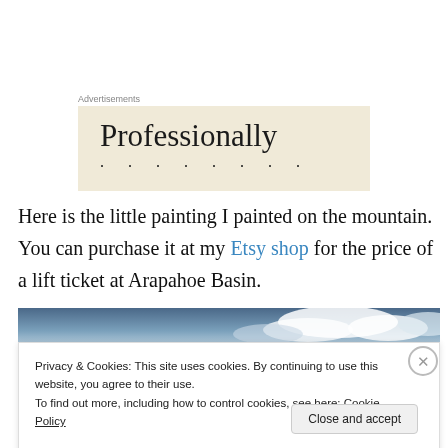Advertisements
[Figure (other): Advertisement banner with cream/beige background showing the word 'Professionally' in large serif font with decorative dots below]
Here is the little painting I painted on the mountain. You can purchase it at my Etsy shop for the price of a lift ticket at Arapahoe Basin.
[Figure (photo): Partial photo of sky with clouds and blue background, partially obscured by cookie consent overlay]
Privacy & Cookies: This site uses cookies. By continuing to use this website, you agree to their use.
To find out more, including how to control cookies, see here: Cookie Policy
Close and accept